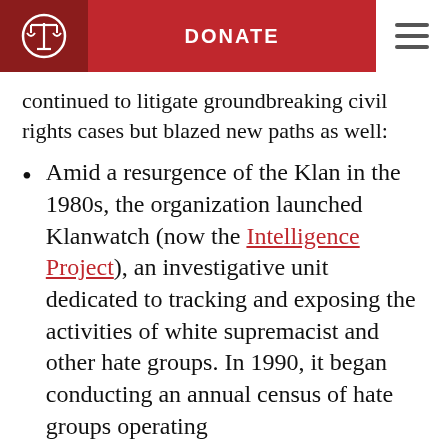DONATE
continued to litigate groundbreaking civil rights cases but blazed new paths as well:
Amid a resurgence of the Klan in the 1980s, the organization launched Klanwatch (now the Intelligence Project), an investigative unit dedicated to tracking and exposing the activities of white supremacist and other hate groups. In 1990, it began conducting an annual census of hate groups operating